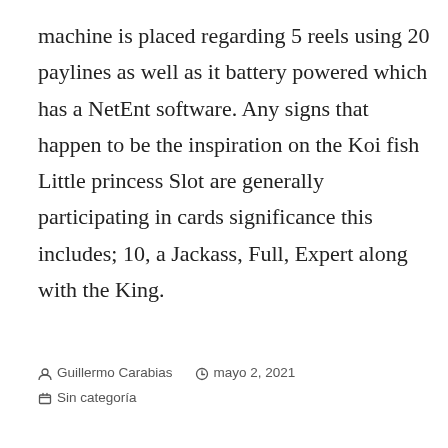machine is placed regarding 5 reels using 20 paylines as well as it battery powered which has a NetEnt software. Any signs that happen to be the inspiration on the Koi fish Little princess Slot are generally participating in cards significance this includes; 10, a Jackass, Full, Expert along with the King.
Guillermo Carabias   mayo 2, 2021   Sin categoría